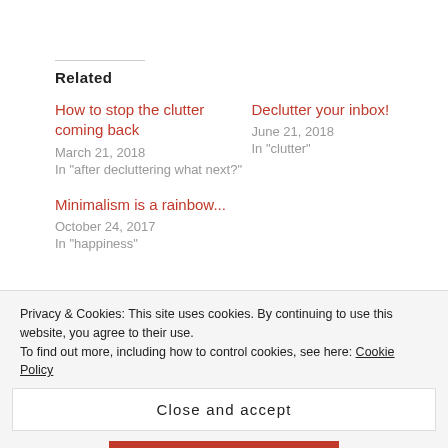Related
How to stop the clutter coming back
March 21, 2018
In "after decluttering what next?"
Declutter your inbox!
June 21, 2018
In "clutter"
Minimalism is a rainbow...
October 24, 2017
In "happiness"
Privacy & Cookies: This site uses cookies. By continuing to use this website, you agree to their use.
To find out more, including how to control cookies, see here: Cookie Policy
Close and accept